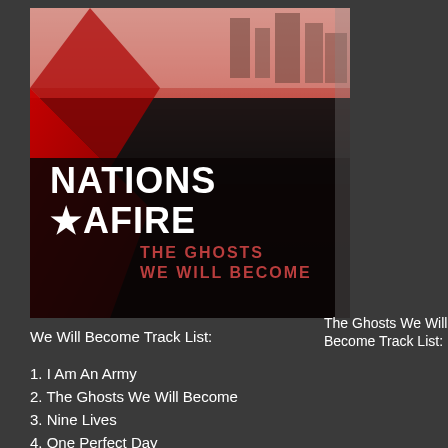[Figure (photo): Album cover for Nations Afire - The Ghosts We Will Become. Dark image of a city skyline with red and black tones, a large red star shape on the left. Bold white text reads NATIONS AFIRE with a star between words, and below in red THE GHOSTS WE WILL BECOME.]
The Ghosts We Will Become Track List:
1. I Am An Army
2. The Ghosts We Will Become
3. Nine Lives
4. One Perfect Day